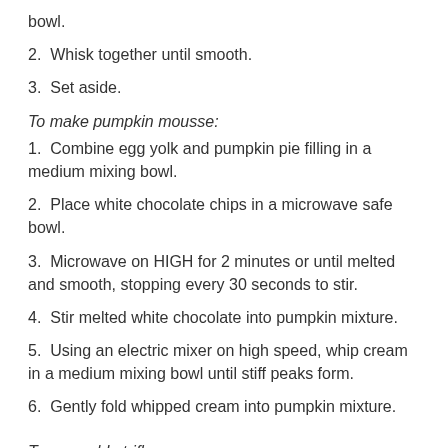bowl.
2.  Whisk together until smooth.
3.  Set aside.
To make pumpkin mousse:
1.  Combine egg yolk and pumpkin pie filling in a medium mixing bowl.
2.  Place white chocolate chips in a microwave safe bowl.
3.  Microwave on HIGH for 2 minutes or until melted and smooth, stopping every 30 seconds to stir.
4.  Stir melted white chocolate into pumpkin mixture.
5.  Using an electric mixer on high speed, whip cream in a medium mixing bowl until stiff peaks form.
6.  Gently fold whipped cream into pumpkin mixture.
To assemble trifle: